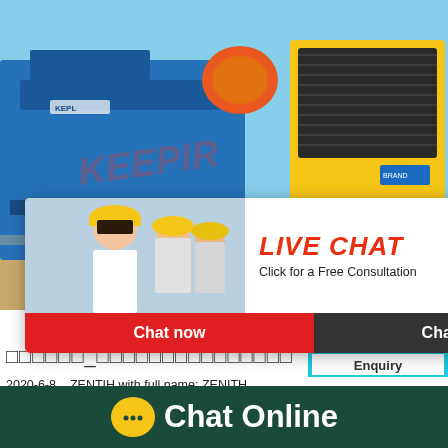[Figure (photo): Industrial machinery photo showing a large blue jaw crusher and yellow diesel generator/power unit on a construction site with blue sky background. KEPL/KEPHI watermark visible.]
[Figure (infographic): Live chat popup overlay with workers in hard hats, red LIVE CHAT heading, 'Click for a Free Consultation' text, red 'Chat now' button and dark 'Chat later' button.]
[Figure (infographic): Customer satisfaction meter widget on right side with smiley faces gauge and 'Click me to chat >>' button and 'Enquiry' text at bottom.]
□□□□□□_□□□□□□□□□□□□□□□
2020-6-8   ZENTIH with full name: ZENITH China□□□□□□ is a professional manufacturer of sto... g mill, optional equipments, and related mini...
[Figure (infographic): Chat Online bar at bottom with yellow chat bubble icon and white 'Chat Online' text on dark green background.]